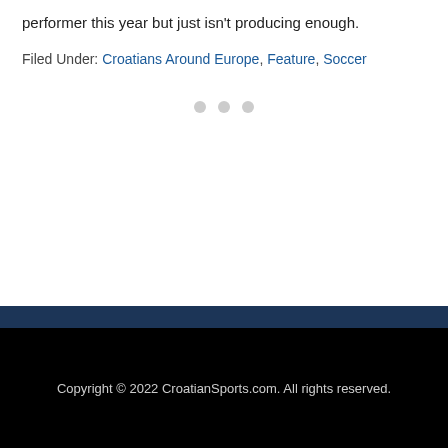performer this year but just isn't producing enough.
Filed Under: Croatians Around Europe, Feature, Soccer
Copyright © 2022 CroatianSports.com. All rights reserved.